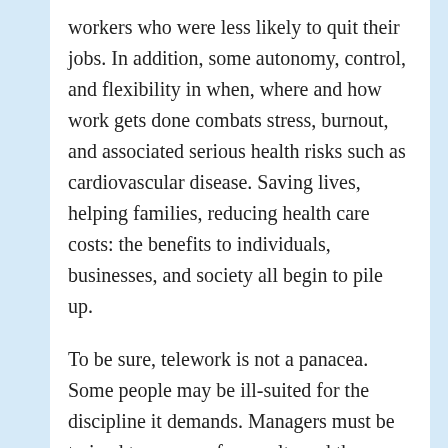workers who were less likely to quit their jobs. In addition, some autonomy, control, and flexibility in when, where and how work gets done combats stress, burnout, and associated serious health risks such as cardiovascular disease. Saving lives, helping families, reducing health care costs: the benefits to individuals, businesses, and society all begin to pile up.
To be sure, telework is not a panacea. Some people may be ill-suited for the discipline it demands. Managers must be trained to manage for results and they must be comfortable relinquishing some control. And there is no doubt that some